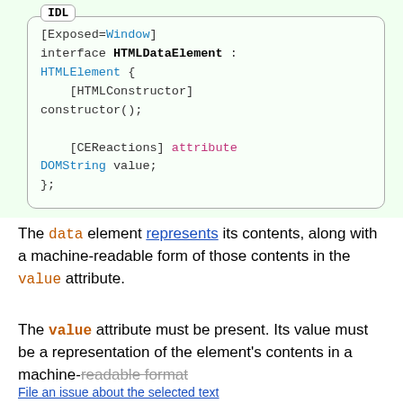[Figure (other): IDL code block showing HTMLDataElement interface definition with [Exposed=Window], interface HTMLDataElement : HTMLElement { [HTMLConstructor] constructor(); [CEReactions] attribute DOMString value; };]
The data element represents its contents, along with a machine-readable form of those contents in the value attribute.
The value attribute must be present. Its value must be a representation of the element's contents in a machine-readable format
File an issue about the selected text